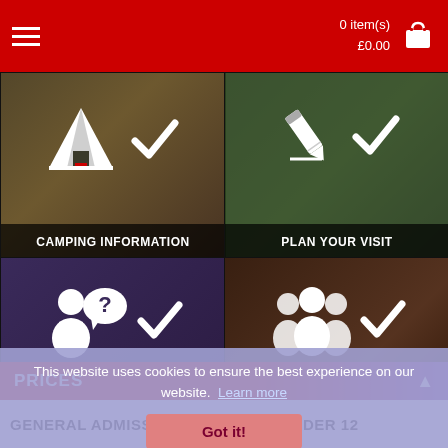0 item(s) £0.00
[Figure (screenshot): Camping information tile with tent icon and checkmark]
[Figure (screenshot): Plan your visit tile with pencil icon and checkmark]
[Figure (screenshot): FAQ tile with person/question icon and checkmark]
[Figure (screenshot): Get involved tile with group/people icon and checkmark]
This website uses cookies to ensure the best experience on our website. Learn more
Got it!
PRICES
GENERAL ADMISSION   CHILDREN UNDER 12